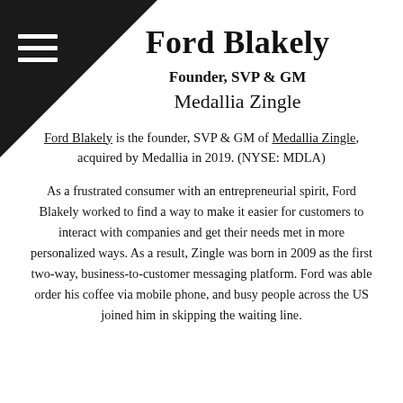Ford Blakely
Founder, SVP & GM
Medallia Zingle
Ford Blakely is the founder, SVP & GM of Medallia Zingle, acquired by Medallia in 2019. (NYSE: MDLA)
As a frustrated consumer with an entrepreneurial spirit, Ford Blakely worked to find a way to make it easier for customers to interact with companies and get their needs met in more personalized ways. As a result, Zingle was born in 2009 as the first two-way, business-to-customer messaging platform. Ford was able order his coffee via mobile phone, and busy people across the US joined him in skipping the waiting line.